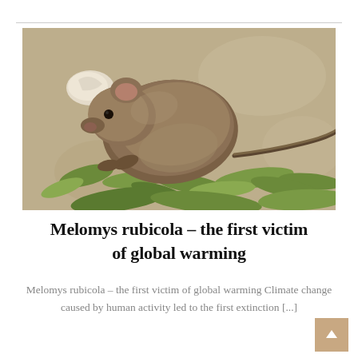[Figure (photo): Photograph of a Melomys rubicola (bramble cay melomys), a small brown rodent, resting on green succulent plants against a sandy/concrete background.]
Melomys rubicola – the first victim of global warming
Melomys rubicola – the first victim of global warming Climate change caused by human activity led to the first extinction [...]